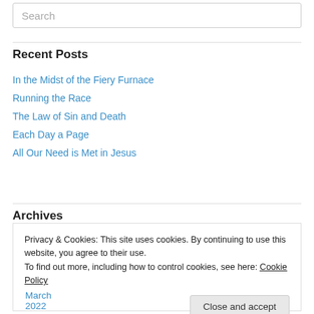Search
Recent Posts
In the Midst of the Fiery Furnace
Running the Race
The Law of Sin and Death
Each Day a Page
All Our Need is Met in Jesus
Archives
Privacy & Cookies: This site uses cookies. By continuing to use this website, you agree to their use.
To find out more, including how to control cookies, see here: Cookie Policy
Close and accept
March 2022